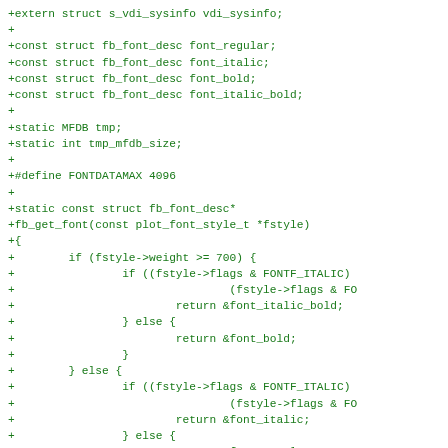[Figure (other): Source code diff snippet in green monospace font showing C code additions including struct declarations, static variables, macro definition, and fb_get_font function implementation with conditional logic for font style selection.]